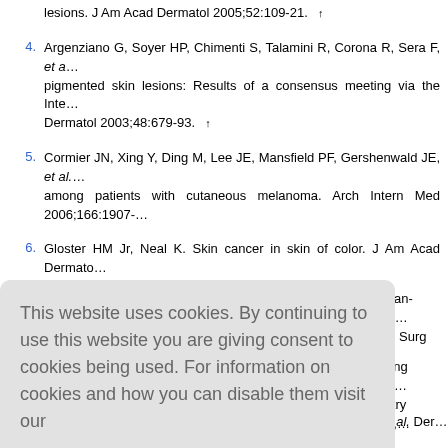lesions. J Am Acad Dermatol 2005;52:109-21. ↑
4. Argenziano G, Soyer HP, Chimenti S, Talamini R, Corona R, Sera F, et a... pigmented skin lesions: Results of a consensus meeting via the Inte... Dermatol 2003;48:679-93. ↑
5. Cormier JN, Xing Y, Ding M, Lee JE, Mansfield PF, Gershenwald JE, et al. ... among patients with cutaneous melanoma. Arch Intern Med 2006;166:1907-...
6. Gloster HM Jr, Neal K. Skin cancer in skin of color. J Am Acad Dermato... quiz 761. ↑
This website uses cookies. By continuing to use this website you are giving consent to cookies being used. For information on cookies and how you can disable them visit our
Privacy and Cookie Policy.
AGREE & PROCEED